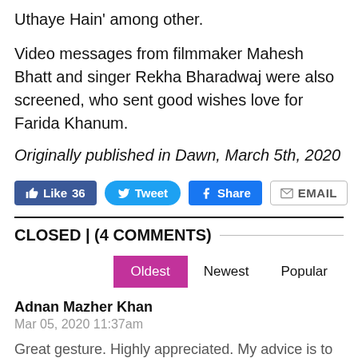Uthaye Hain' among other.
Video messages from filmmaker Mahesh Bhatt and singer Rekha Bharadwaj were also screened, who sent good wishes love for Farida Khanum.
Originally published in Dawn, March 5th, 2020
Like 36  Tweet  Share  EMAIL
CLOSED | (4 COMMENTS)
Oldest  Newest  Popular
Adnan Mazher Khan
Mar 05, 2020 11:37am
Great gesture. Highly appreciated. My advice is to reach out to all such artists.